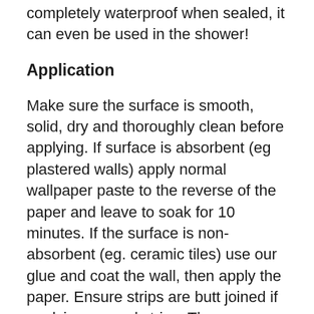completely waterproof when sealed, it can even be used in the shower!
Application
Make sure the surface is smooth, solid, dry and thoroughly clean before applying. If surface is absorbent (eg plastered walls) apply normal wallpaper paste to the reverse of the paper and leave to soak for 10 minutes. If the surface is non-absorbent (eg. ceramic tiles) use our glue and coat the wall, then apply the paper. Ensure strips are butt joined if applying several strips. The paper can be cut around sockets very easily with scissors. Seal any edges and joins using clear silicone sealant. Leave